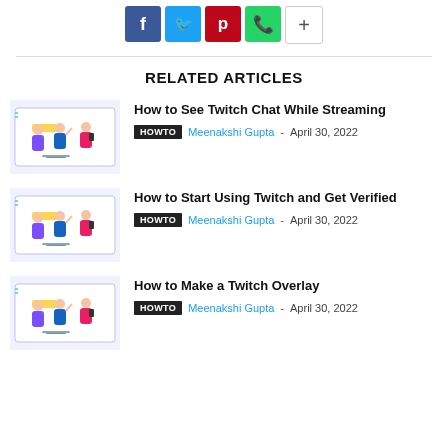[Figure (infographic): Social sharing buttons: Facebook (blue), Twitter (light blue), Pinterest (red), WhatsApp (green), More (white/grey plus sign)]
RELATED ARTICLES
[Figure (illustration): Cartoon illustration of people with phones and laptop on a UI screen background]
How to See Twitch Chat While Streaming
HOWTO  Meenakshi Gupta - April 30, 2022
[Figure (illustration): Cartoon illustration of people with phones and laptop on a UI screen background]
How to Start Using Twitch and Get Verified
HOWTO  Meenakshi Gupta - April 30, 2022
[Figure (illustration): Cartoon illustration of people with phones and laptop on a UI screen background]
How to Make a Twitch Overlay
HOWTO  Meenakshi Gupta - April 30, 2022